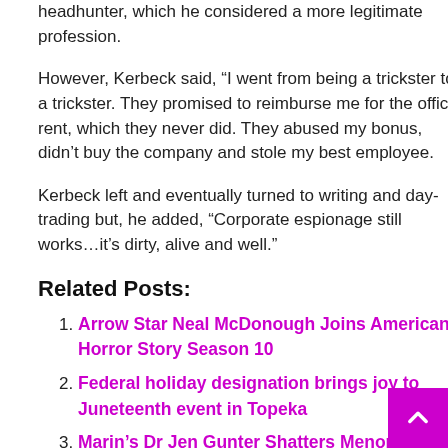headhunter, which he considered a more legitimate profession.
However, Kerbeck said, “I went from being a trickster to a trickster. They promised to reimburse me for the office rent, which they never did. They abused my bonus, didn’t buy the company and stole my best employee.
Kerbeck left and eventually turned to writing and day-trading but, he added, “Corporate espionage still works…it’s dirty, alive and well.”
Related Posts:
Arrow Star Neal McDonough Joins American Horror Story Season 10
Federal holiday designation brings joy to Juneteenth event in Topeka
Marin’s Dr Jen Gunter Shatters Menopause Myths in New Book
New American Girl Book Offers Tools to Become Anti-Racist